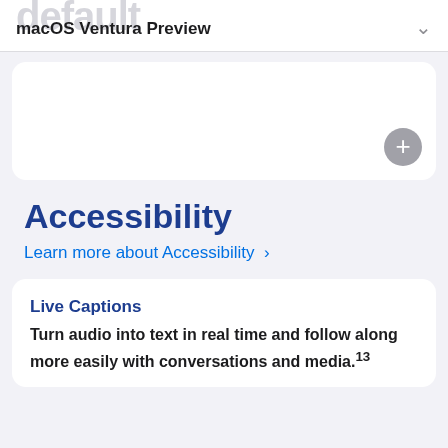macOS Ventura Preview
[Figure (screenshot): White card area with a circular plus button in the bottom right corner]
Accessibility
Learn more about Accessibility >
Live Captions
Turn audio into text in real time and follow along more easily with conversations and media.13